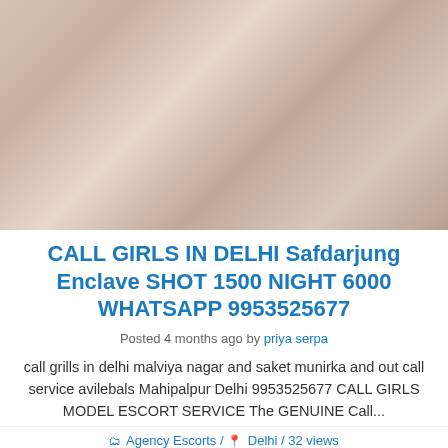[Figure (photo): Photo of a person lying on a bed with white/grey bedding, cropped image showing skin tones]
CALL GIRLS IN DELHI Safdarjung Enclave SHOT 1500 NIGHT 6000 WHATSAPP 9953525677
Posted 4 months ago by priya serpa
call grills in delhi malviya nagar and saket munirka and out call service avilebals Mahipalpur Delhi 9953525677 CALL GIRLS MODEL ESCORT SERVICE The GENUINE Call...
Agency Escorts / Delhi / 32 views